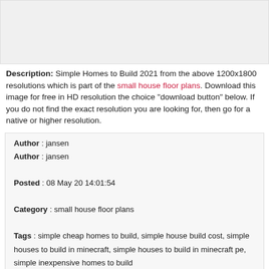[Figure (photo): Gray placeholder image area]
Description: Simple Homes to Build 2021 from the above 1200x1800 resolutions which is part of the small house floor plans. Download this image for free in HD resolution the choice "download button" below. If you do not find the exact resolution you are looking for, then go for a native or higher resolution.
| Author | jansen |
| Posted | 08 May 20 14:01:54 |
| Category | small house floor plans |
| Tags | simple cheap homes to build, simple house build cost, simple houses to build in minecraft, simple houses to build in minecraft pe, simple inexpensive homes to build |
| File Size | 728 KB |
| File Type | image/jpeg |